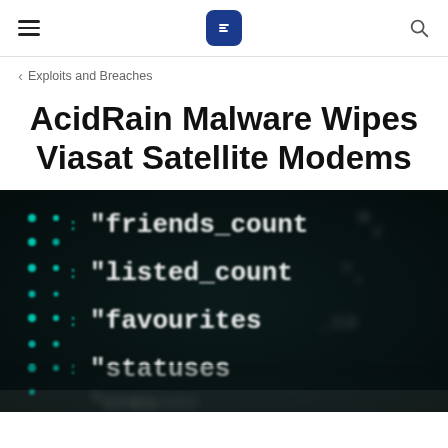≡ [logo] 🔍
< Exploits and Breaches
AcidRain Malware Wipes Viasat Satellite Modems
[Figure (photo): Close-up blurred photo of a computer screen showing code with cyan/teal and white monospace text on a dark background, showing strings like "friends_count", "listed_count", "favourites_count", "statuses"]